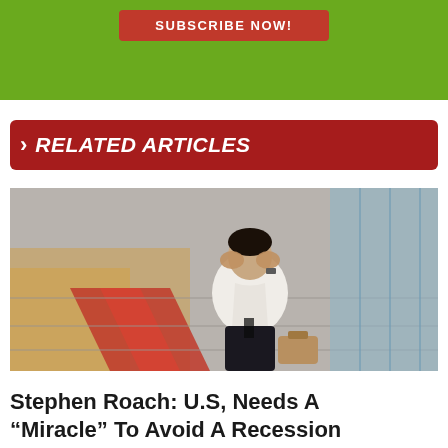[Figure (other): Green banner background with red SUBSCRIBE NOW! button]
> RELATED ARTICLES
[Figure (photo): A businessman in a white shirt sitting on steps with his head in his hands, appearing stressed or distressed, with a briefcase nearby and a modern building in the background]
Stephen Roach: U.S, Needs A "Miracle" To Avoid A Recession